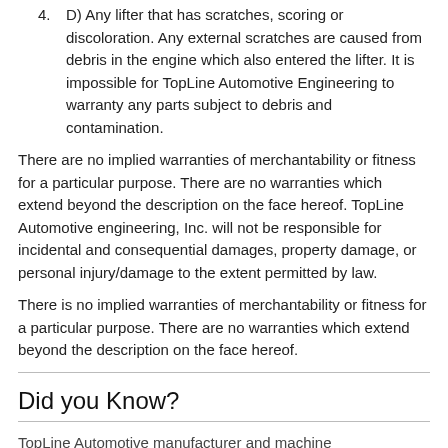4. D) Any lifter that has scratches, scoring or discoloration. Any external scratches are caused from debris in the engine which also entered the lifter. It is impossible for TopLine Automotive Engineering to warranty any parts subject to debris and contamination.
There are no implied warranties of merchantability or fitness for a particular purpose. There are no warranties which extend beyond the description on the face hereof. TopLine Automotive engineering, Inc. will not be responsible for incidental and consequential damages, property damage, or personal injury/damage to the extent permitted by law.
There is no implied warranties of merchantability or fitness for a particular purpose. There are no warranties which extend beyond the description on the face hereof.
Did you Know?
TopLine Automotive manufacturer and machine...